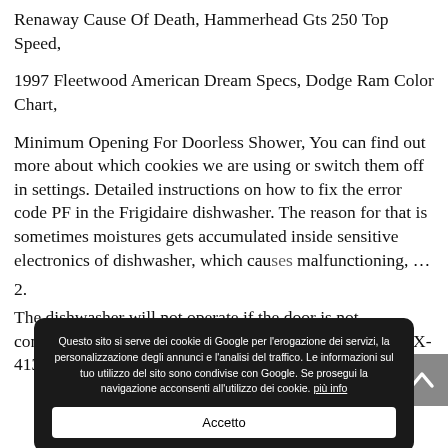Renaway Cause Of Death, Hammerhead Gts 250 Top Speed,
1997 Fleetwood American Dream Specs, Dodge Ram Color Chart,
Minimum Opening For Doorless Shower, You can find out more about which cookies we are using or switch them off in settings. Detailed instructions on how to fix the error code PF in the Frigidaire dishwasher. The reason for that is sometimes moistures gets accumulated inside sensitive electronics of dishwasher, which causes malfunctioning, …
2.
The dishwasher will not operate if the door is not completely closed. LFX-41350 Electronix dishwasher two beeps, two flashes on heated dry button and air dry button, no digital error code.
Questo sito si serve dei cookie di Google per l'erogazione dei servizi, la personalizzazione degli annunci e l'analisi del traffico. Le informazioni sul tuo utilizzo del sito sono condivise con Google. Se prosegui la navigazione acconsenti all'utilizzo dei cookie. più info